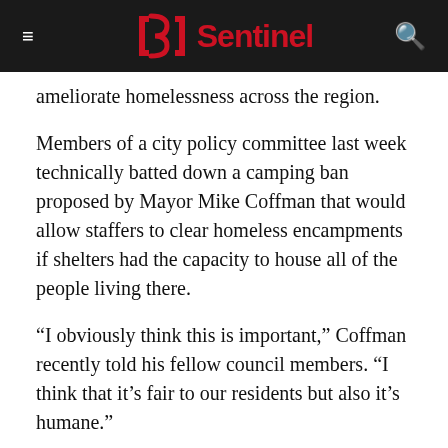Sentinel
ameliorate homelessness across the region.
Members of a city policy committee last week technically batted down a camping ban proposed by Mayor Mike Coffman that would allow staffers to clear homeless encampments if shelters had the capacity to house all of the people living there.
“I obviously think this is important,” Coffman recently told his fellow council members. “I think that it’s fair to our residents but also it’s humane.”
The city typically has about 150 shelter beds available at Comitis Crisis Center on any given day, though that total can be padded by motel vouchers given to domestic violence victims or emergency shelters opened during extremely cold weather.